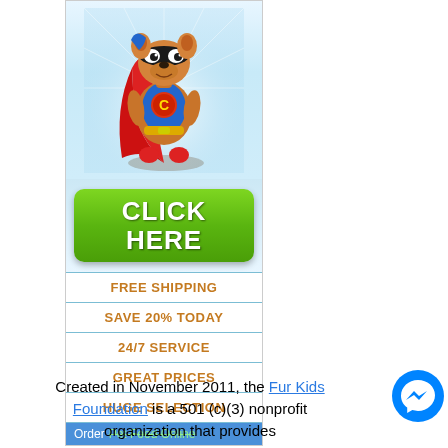[Figure (illustration): Advertisement banner featuring a cartoon dog dressed as a superhero with a cape and costume with letter C, blue background with radiating light rays, green CLICK HERE button, list of features: FREE SHIPPING, SAVE 20% TODAY, 24/7 SERVICE, GREAT PRICES, HUGE SELECTION, and Order Pet Food Online bar at bottom]
Created in November 2011, the Fur Kids Foundation is a 501 (c)(3) nonprofit organization that provides